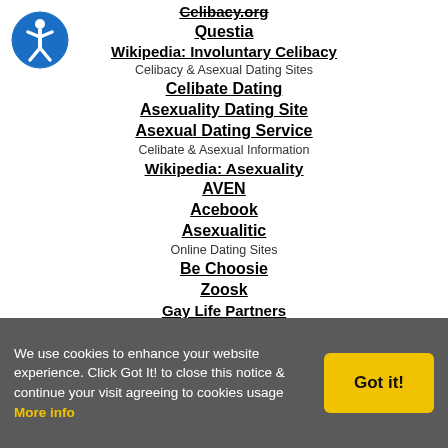[Figure (logo): Blue circle accessibility icon with white person figure]
Celibacy.org (strikethrough link)
Questia
Wikipedia: Involuntary Celibacy
Celibacy & Asexual Dating Sites
Celibate Dating
Asexuality Dating Site
Asexual Dating Service
Celibate & Asexual Information
Wikipedia: Asexuality
AVEN
Acebook
Asexualitic
Online Dating Sites
Be Choosie
Zoosk
Gay Life Partners
Friendfinder
Singles Online
Local Personals Online
Dating Buddies
Sweet And Casual
Webcam Sites (partially visible)
We use cookies to enhance your website experience. Click Got It! to close this notice & continue your visit agreeing to cookies usage More info